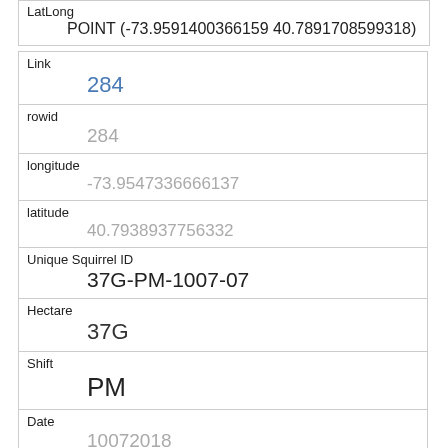| LatLong | POINT (-73.9591400366159 40.7891708599318) |
| Link | 284 |
| rowid | 284 |
| longitude | -73.9547336666137 |
| latitude | 40.7938937756332 |
| Unique Squirrel ID | 37G-PM-1007-07 |
| Hectare | 37G |
| Shift | PM |
| Date | 10072018 |
| Hectare Squirrel Number | 7 |